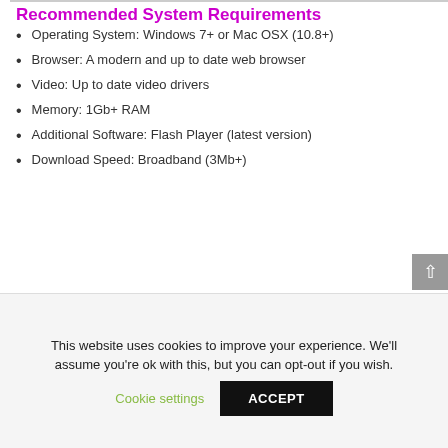Recommended System Requirements
Operating System: Windows 7+ or Mac OSX (10.8+)
Browser: A modern and up to date web browser
Video: Up to date video drivers
Memory: 1Gb+ RAM
Additional Software: Flash Player (latest version)
Download Speed: Broadband (3Mb+)
This website uses cookies to improve your experience. We'll assume you're ok with this, but you can opt-out if you wish.
Cookie settings
ACCEPT